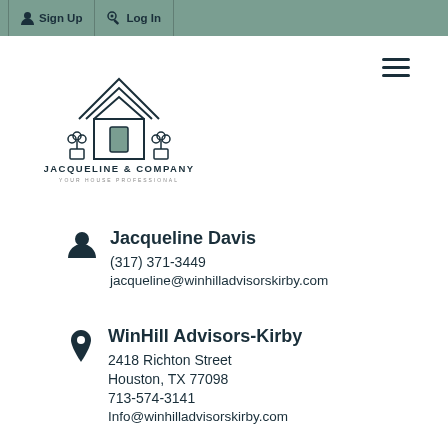Sign Up  Log In
[Figure (logo): Jacqueline & Company house logo with text JACQUELINE & COMPANY YOUR HOUSE PROFESSIONAL]
Jacqueline Davis
(317) 371-3449
jacqueline@winhilladvisorskirby.com
WinHill Advisors-Kirby
2418 Richton Street
Houston, TX 77098
713-574-3141
Info@winhilladvisorskirby.com